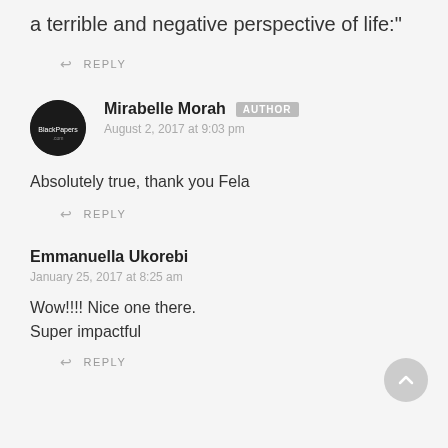a terrible and negative perspective of life:"
↩ REPLY
Mirabelle Morah [AUTHOR]
August 2, 2017 at 9:03 pm
Absolutely true, thank you Fela
↩ REPLY
Emmanuella Ukorebi
January 25, 2017 at 8:25 am
Wow!!!! Nice one there. Super impactful
↩ REPLY